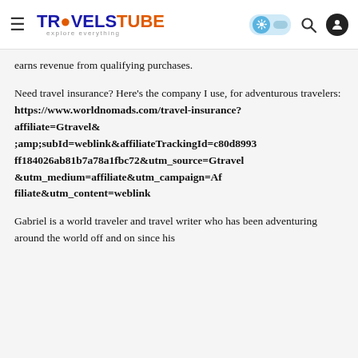TRAVELSTUBE — explore everything
earns revenue from qualifying purchases.
Need travel insurance? Here's the company I use, for adventurous travelers: https://www.worldnomads.com/travel-insurance?affiliate=Gtravel&;amp;subId=weblink&amp;affiliateTrackingId=c80d8993ff184026ab81b7a78a1fbc72&amp;utm_source=Gtravel&amp;utm_medium=affiliate&amp;utm_campaign=Affiliate&amp;utm_content=weblink
Gabriel is a world traveler and travel writer who has been adventuring around the world off and on since his